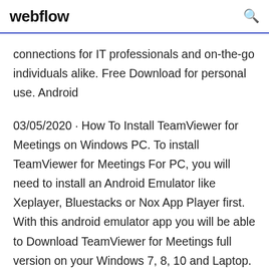webflow
connections for IT professionals and on-the-go individuals alike. Free Download for personal use. Android
03/05/2020 · How To Install TeamViewer for Meetings on Windows PC. To install TeamViewer for Meetings For PC, you will need to install an Android Emulator like Xeplayer, Bluestacks or Nox App Player first. With this android emulator app you will be able to Download TeamViewer for Meetings full version on your Windows 7, 8, 10 and Laptop. Teamviewer 7 free download for windows 8 32bit … TeamViewer Free Download for